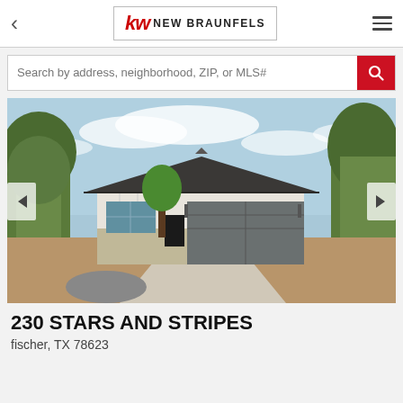kw NEW BRAUNFELS
Search by address, neighborhood, ZIP, or MLS#
[Figure (photo): Exterior photo of a single-story ranch-style home with white board-and-batten siding, dark gray garage door, stone accents, and a concrete driveway, surrounded by trees and bare landscaping under a partly cloudy sky.]
230 STARS AND STRIPES
fischer, TX 78623